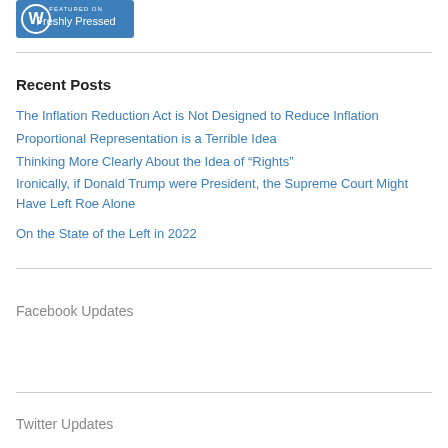[Figure (logo): WordPress 'Featured on Freshly Pressed' badge — blue background with white WordPress logo and text]
Recent Posts
The Inflation Reduction Act is Not Designed to Reduce Inflation
Proportional Representation is a Terrible Idea
Thinking More Clearly About the Idea of “Rights”
Ironically, if Donald Trump were President, the Supreme Court Might Have Left Roe Alone
On the State of the Left in 2022
Facebook Updates
Twitter Updates